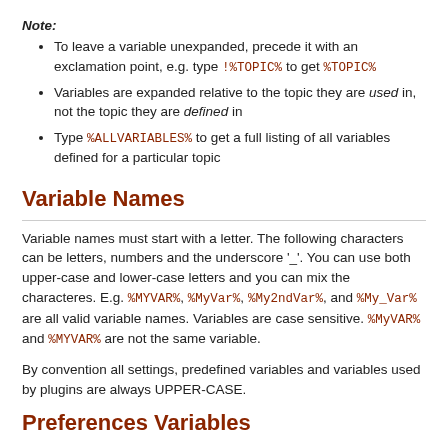Note:
To leave a variable unexpanded, precede it with an exclamation point, e.g. type !%TOPIC% to get %TOPIC%
Variables are expanded relative to the topic they are used in, not the topic they are defined in
Type %ALLVARIABLES% to get a full listing of all variables defined for a particular topic
Variable Names
Variable names must start with a letter. The following characters can be letters, numbers and the underscore '_'. You can use both upper-case and lower-case letters and you can mix the characteres. E.g. %MYVAR%, %MyVar%, %My2ndVar%, and %My_Var% are all valid variable names. Variables are case sensitive. %MyVAR% and %MYVAR% are not the same variable.
By convention all settings, predefined variables and variables used by plugins are always UPPER-CASE.
Preferences Variables